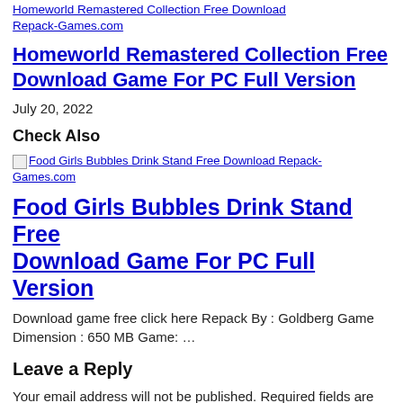Homeworld Remastered Collection Free Download Repack-Games.com
Homeworld Remastered Collection Free Download Game For PC Full Version
July 20, 2022
Check Also
[Figure (other): Broken image icon link: Food Girls Bubbles Drink Stand Free Download Repack-Games.com]
Food Girls Bubbles Drink Stand Free Download Game For PC Full Version
Download game free click here Repack By : Goldberg Game Dimension : 650 MB Game: …
Leave a Reply
Your email address will not be published. Required fields are marked *